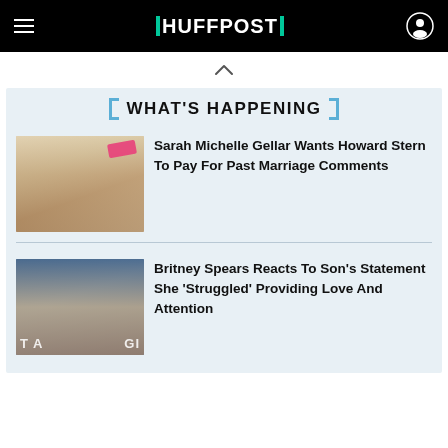HUFFPOST
WHAT'S HAPPENING
Sarah Michelle Gellar Wants Howard Stern To Pay For Past Marriage Comments
Britney Spears Reacts To Son's Statement She 'Struggled' Providing Love And Attention